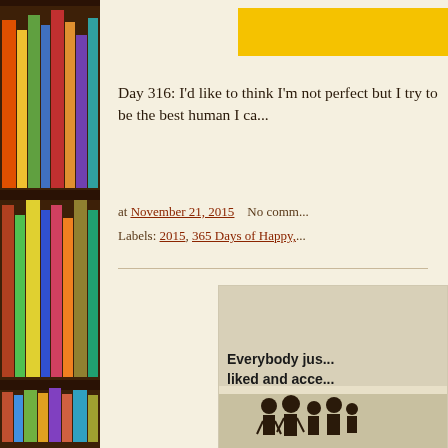[Figure (photo): Bookshelf with colorful books on wooden shelves, left side panel]
[Figure (photo): Partial yellow/orange banner at top right]
Day 316: I'd like to think I'm not perfect but I try to be the best human I ca...
at November 21, 2015   No comm...
Labels: 2015, 365 Days of Happy,...
[Figure (illustration): Image with text 'Everybody jus... liked and acce...' and cartoon people illustration at bottom]